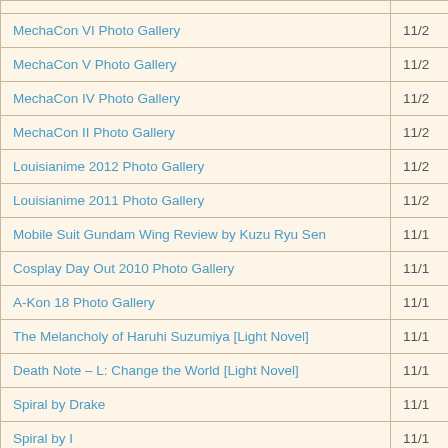| Title | Date |
| --- | --- |
| MechaCon VI Photo Gallery | 11/2 |
| MechaCon V Photo Gallery | 11/2 |
| MechaCon IV Photo Gallery | 11/2 |
| MechaCon II Photo Gallery | 11/2 |
| Louisianime 2012 Photo Gallery | 11/2 |
| Louisianime 2011 Photo Gallery | 11/2 |
| Mobile Suit Gundam Wing Review by Kuzu Ryu Sen | 11/1 |
| Cosplay Day Out 2010 Photo Gallery | 11/1 |
| A-Kon 18 Photo Gallery | 11/1 |
| The Melancholy of Haruhi Suzumiya [Light Novel] | 11/1 |
| Death Note – L: Change the World [Light Novel] | 11/1 |
| Spiral by Drake | 11/1 |
| Spiral by I | 11/1 |
| Spiral | 11/1 |